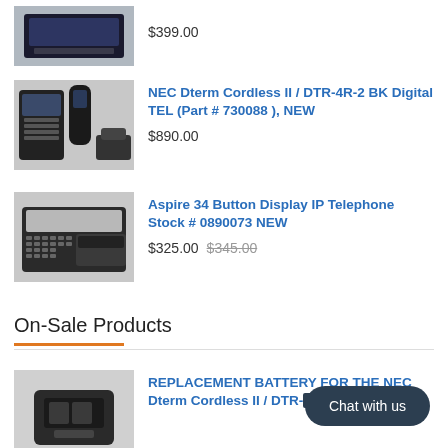$399.00
[Figure (photo): Product photo of NEC Dterm Cordless II / DTR-4R-2 BK Digital TEL phone]
NEC Dterm Cordless II / DTR-4R-2 BK Digital TEL (Part # 730088 ), NEW
$890.00
[Figure (photo): Product photo of Aspire 34 Button Display IP Telephone]
Aspire 34 Button Display IP Telephone Stock # 0890073 NEW
$325.00  $345.00
On-Sale Products
[Figure (photo): Product photo of replacement battery for NEC Dterm Cordless II]
REPLACEMENT BATTERY FOR THE NEC Dterm Cordless II / DTR- ... (522) NEW
$40.83  $45.50